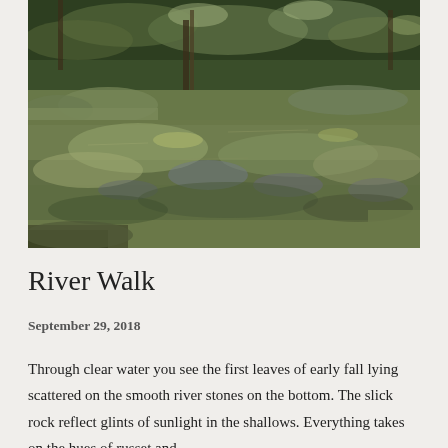[Figure (photo): A shallow river scene with clear water over smooth stones, dappled sunlight filtering through overhanging green trees, and a rocky riverbank. The water reflects the surrounding foliage and sunlight.]
River Walk
September 29, 2018
Through clear water you see the first leaves of early fall lying scattered on the smooth river stones on the bottom. The slick rock reflect glints of sunlight in the shallows. Everything takes on the hues of russet and